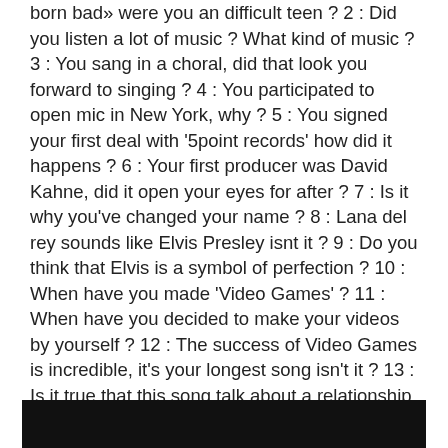born bad» were you an difficult teen ? 2 : Did you listen a lot of music ? What kind of music ? 3 : You sang in a choral, did that look you forward to singing ? 4 : You participated to open mic in New York, why ? 5 : You signed your first deal with '5point records' how did it happens ? 6 : Your first producer was David Kahne, did it open your eyes for after ? 7 : Is it why you've changed your name ? 8 : Lana del rey sounds like Elvis Presley isnt it ? 9 : Do you think that Elvis is a symbol of perfection ? 10 : When have you made 'Video Games' ? 11 : When have you decided to make your videos by yourself ? 12 : The success of Video Games is incredible, it's your longest song isn't it ? 13 : Is it true that this song talk about a relationship with a bad boy ? 14 : Let's talk about the album, why have you chosen this title ? 15 : There is also a french touch in your album because Yoan Lemoine made the video of Born to die, why him ?
[Figure (other): Black bar at the bottom of the page]